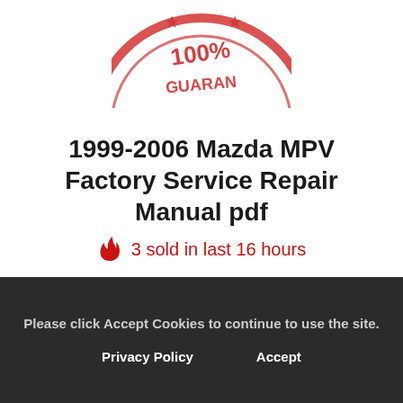[Figure (logo): Red rubber stamp with '100% GUARANTEE' text and stars, partially cropped at top of page]
1999-2006 Mazda MPV Factory Service Repair Manual pdf
🔥 3 sold in last 16 hours
Please click Accept Cookies to continue to use the site.
Privacy Policy   Accept